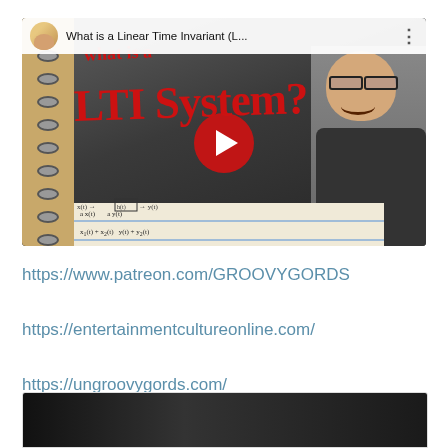[Figure (screenshot): YouTube video thumbnail for 'What is a Linear Time Invariant (L...' showing a man in glasses, handwritten notebook with LTI system diagrams, large red 'LTI System?' text in marker, and YouTube play button overlay.]
https://www.patreon.com/GROOVYGORDS
https://entertainmentcultureonline.com/
https://ungroovygords.com/
[Figure (screenshot): Bottom partial screenshot of another video thumbnail (partially visible).]